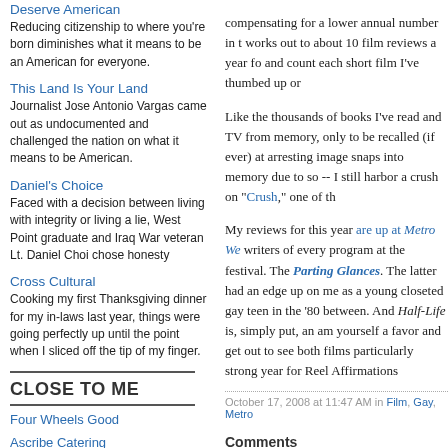Deserve American
Reducing citizenship to where you're born diminishes what it means to be an American for everyone.
This Land Is Your Land
Journalist Jose Antonio Vargas came out as undocumented and challenged the nation on what it means to be American.
Daniel's Choice
Faced with a decision between living with integrity or living a lie, West Point graduate and Iraq War veteran Lt. Daniel Choi chose honesty
Cross Cultural
Cooking my first Thanksgiving dinner for my in-laws last year, things were going perfectly up until the point when I sliced off the tip of my finger.
CLOSE TO ME
Four Wheels Good
Ascribe Catering
Capital Tennis Association
compensating for a lower annual number in t works out to about 10 film reviews a year fo and count each short film I've thumbed up or
Like the thousands of books I've read and TV from memory, only to be recalled (if ever) at arresting image snaps into memory due to so -- I still harbor a crush on "Crush," one of th
My reviews for this year are up at Metro We writers of every program at the festival. The Parting Glances. The latter had an edge up on me as a young closeted gay teen in the '80 between. And Half-Life is, simply put, an am yourself a favor and get out to see both films particularly strong year for Reel Affirmations
October 17, 2008 at 11:47 AM in Film, Gay, Metro
Comments
The comments to this entry are closed.